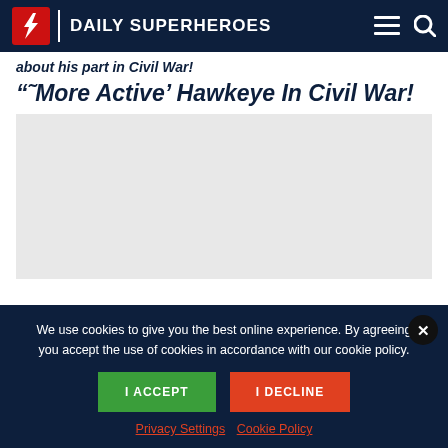Daily Superheroes
about his part in Civil War!
“˜More Active’ Hawkeye In Civil War!
[Figure (photo): Article image placeholder, light grey background]
We use cookies to give you the best online experience. By agreeing you accept the use of cookies in accordance with our cookie policy.
I ACCEPT | I DECLINE
Privacy Settings  Cookie Policy